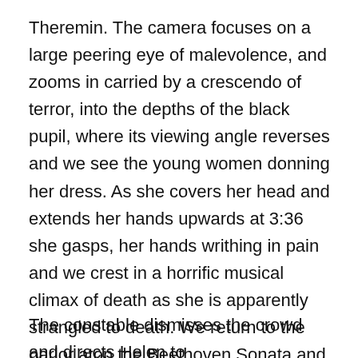Theremin. The camera focuses on a large peering eye of malevolence, and zooms in carried by a crescendo of terror, into the depths of the black pupil, where its viewing angle reverses and we see the young women donning her dress. As she covers her head and extends her hands upwards at 3:36 she gasps, her hands writhing in pain and we crest in a horrific musical climax of death as she is apparently strangled to death. We return to the parlor atop the Beethoven Sonata and see people startled by a loud thud on the ceiling and sound of broken glass. The hotel clerk runs upstairs and is joined by a frantic woman who says its room no. 9. He opens the door to find a corpse, overturned table and wind blowing through an open window.
The constable dismisses the crowd and directs Helen to